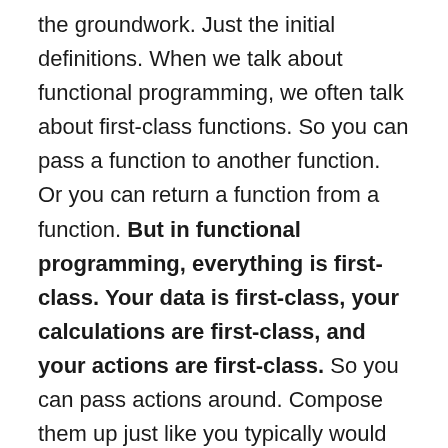the groundwork. Just the initial definitions. When we talk about functional programming, we often talk about first-class functions. So you can pass a function to another function. Or you can return a function from a function. But in functional programming, everything is first-class. Your data is first-class, your calculations are first-class, and your actions are first-class. So you can pass actions around. Compose them up just like you typically would think of posing up calculations. And I would argue that this is the minimal set feature set you need to do functional programming.

So let me give an example. In JavaScript, there are things that are not first-class. For instance, the plus operator is not first-class. You can't pass that to